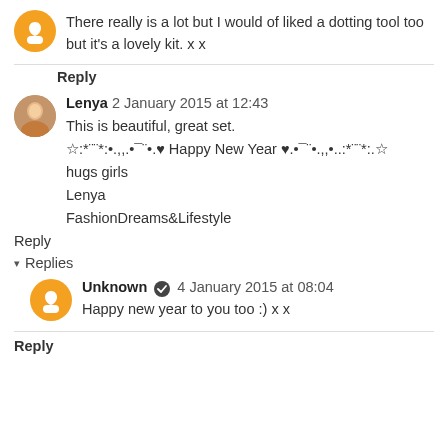There really is a lot but I would of liked a dotting tool too but it's a lovely kit. x x
Reply
Lenya 2 January 2015 at 12:43
This is beautiful, great set.
☆:*¨¨*:•.,,.•¯¨•.♥ Happy New Year ♥.•¯¨•.,,•..:*¨¨*:.☆
hugs girls
Lenya
FashionDreams&Lifestyle
Reply
▾ Replies
Unknown ✔ 4 January 2015 at 08:04
Happy new year to you too :) x x
Reply